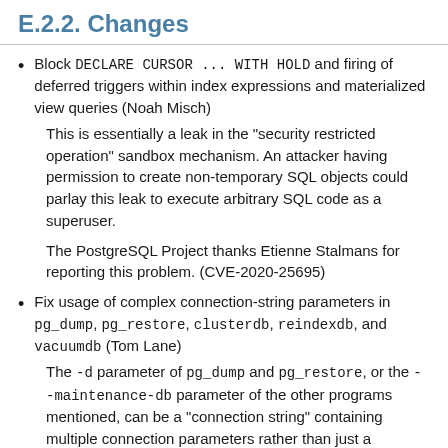E.2.2. Changes
Block DECLARE CURSOR ... WITH HOLD and firing of deferred triggers within index expressions and materialized view queries (Noah Misch)
This is essentially a leak in the "security restricted operation" sandbox mechanism. An attacker having permission to create non-temporary SQL objects could parlay this leak to execute arbitrary SQL code as a superuser.
The PostgreSQL Project thanks Etienne Stalmans for reporting this problem. (CVE-2020-25695)
Fix usage of complex connection-string parameters in pg_dump, pg_restore, clusterdb, reindexdb, and vacuumdb (Tom Lane)
The -d parameter of pg_dump and pg_restore, or the --maintenance-db parameter of the other programs mentioned, can be a "connection string" containing multiple connection parameters rather than just a database name. In